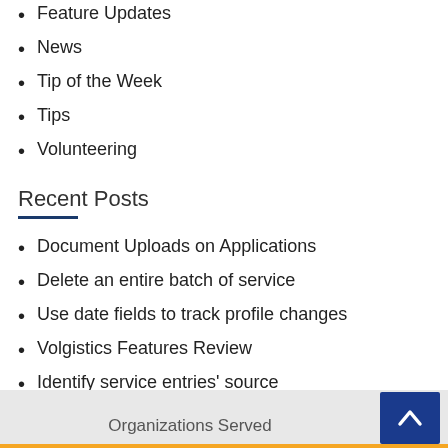Feature Updates
News
Tip of the Week
Tips
Volunteering
Recent Posts
Document Uploads on Applications
Delete an entire batch of service
Use date fields to track profile changes
Volgistics Features Review
Identify service entries' source
Organizations Served